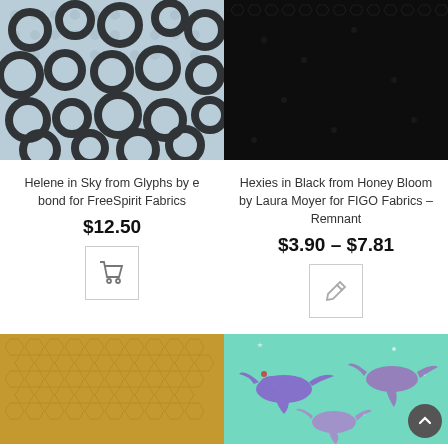[Figure (photo): Helene in Sky from Glyphs fabric — light blue background with black circle/ring brush stroke pattern]
[Figure (photo): Hexies in Black from Honey Bloom fabric — dark black honeycomb hexagon pattern]
Helene in Sky from Glyphs by e bond for FreeSpirit Fabrics
$12.50
Hexies in Black from Honey Bloom by Laura Moyer for FIGO Fabrics – Remnant
$3.90 – $7.81
[Figure (photo): Gold/tan honeycomb textured fabric]
[Figure (photo): Mint/teal background fabric with purple/violet bird illustrations and stars]